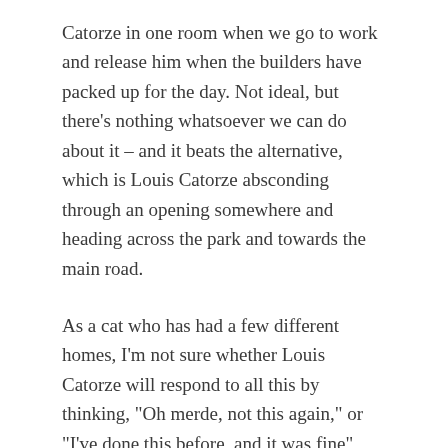Catorze in one room when we go to work and release him when the builders have packed up for the day. Not ideal, but there's nothing whatsoever we can do about it – and it beats the alternative, which is Louis Catorze absconding through an opening somewhere and heading across the park and towards the main road.
As a cat who has had a few different homes, I'm not sure whether Louis Catorze will respond to all this by thinking, "Oh merde, not this again," or "I've done this before, and it was fine" (assuming he remembers, of course). I really hope it will be the latter, and that he will settle into his new Château quickly.